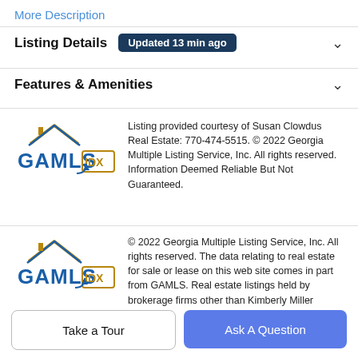More Description
Listing Details  Updated 13 min ago
Features & Amenities
[Figure (logo): GAMLS IDX logo — blue GAMLS text with roof icon and IDX badge]
Listing provided courtesy of Susan Clowdus Real Estate: 770-474-5515. © 2022 Georgia Multiple Listing Service, Inc. All rights reserved. Information Deemed Reliable But Not Guaranteed.
[Figure (logo): GAMLS IDX logo — blue GAMLS text with roof icon and IDX badge]
© 2022 Georgia Multiple Listing Service, Inc. All rights reserved. The data relating to real estate for sale or lease on this web site comes in part from GAMLS. Real estate listings held by brokerage firms other than Kimberly Miller
Take a Tour
Ask A Question